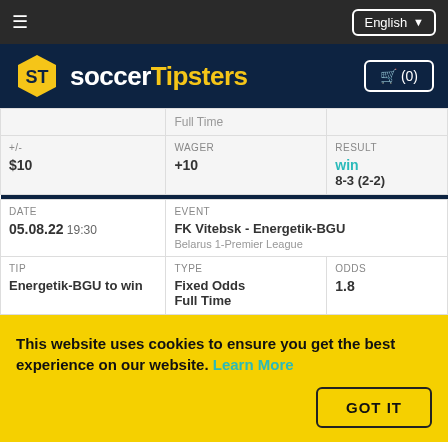soccerTipsters — English
| +/- | WAGER | RESULT |
| --- | --- | --- |
| $10 | +10 | win
8-3 (2-2) |
| DATE
05.08.22
19:30 | EVENT
FK Vitebsk - Energetik-BGU
Belarus 1-Premier League |  |
| TIP
Energetik-BGU to win | TYPE
Fixed Odds Full Time | ODDS
1.8 |
This website uses cookies to ensure you get the best experience on our website. Learn More
GOT IT